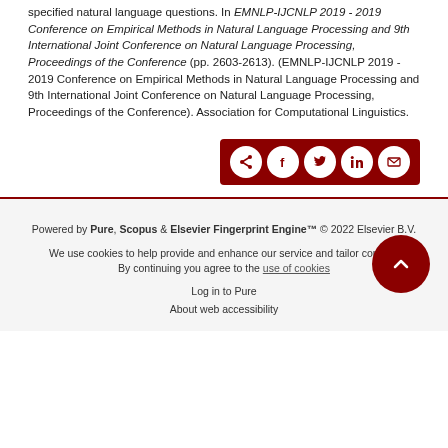specified natural language questions. In EMNLP-IJCNLP 2019 - 2019 Conference on Empirical Methods in Natural Language Processing and 9th International Joint Conference on Natural Language Processing, Proceedings of the Conference (pp. 2603-2613). (EMNLP-IJCNLP 2019 - 2019 Conference on Empirical Methods in Natural Language Processing and 9th International Joint Conference on Natural Language Processing, Proceedings of the Conference). Association for Computational Linguistics.
[Figure (other): Share bar with icons for share, Facebook, Twitter, LinkedIn, and email on dark red background]
Powered by Pure, Scopus & Elsevier Fingerprint Engine™ © 2022 Elsevier B.V.
We use cookies to help provide and enhance our service and tailor content. By continuing you agree to the use of cookies
Log in to Pure
About web accessibility